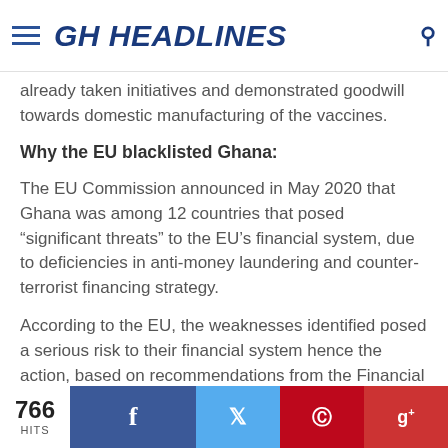GH HEADLINES
already taken initiatives and demonstrated goodwill towards domestic manufacturing of the vaccines.
Why the EU blacklisted Ghana:
The EU Commission announced in May 2020 that Ghana was among 12 countries that posed “significant threats” to the EU’s financial system, due to deficiencies in anti-money laundering and counter-terrorist financing strategy.
According to the EU, the weaknesses identified posed a serious risk to their financial system hence the action, based on recommendations from the Financial Action
766 HITS | Facebook | Twitter | Pinterest | Google+